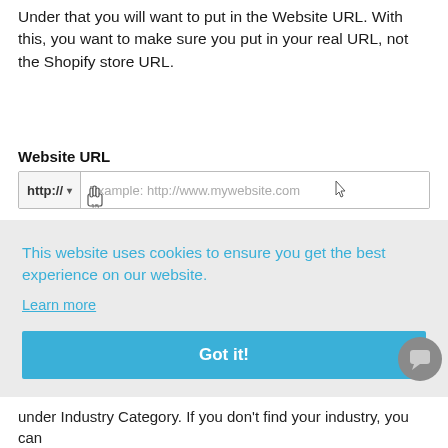Under that you will want to put in the Website URL. With this, you want to make sure you put in your real URL, not the Shopify store URL.
[Figure (screenshot): Website URL input field with http:// protocol selector dropdown and placeholder text 'Example: http://www.mywebsite.com'. A hand cursor icon is shown below the dropdown and an arrow cursor is shown in the input field.]
[Figure (screenshot): Cookie consent banner with light gray background. Text reads 'This website uses cookies to ensure you get the best experience on our website.' with a 'Learn more' link. Below is a blue 'Got it!' button. A gray chat bubble icon is in the bottom right corner.]
under Industry Category. If you don't find your industry, you can